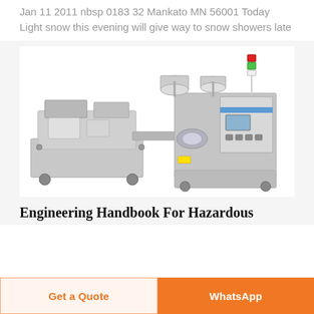Jan 11 2011 nbsp 0183 32 Mankato MN 56001 Today Light snow this evening will give way to snow showers late
[Figure (photo): Industrial packaging or wrapping machine, silver/metallic color, with a control panel with a blue stripe and a screen on the right side, and a red/green indicator light on top. The machine sits on a white background.]
Engineering Handbook For Hazardous
Get a Quote
WhatsApp